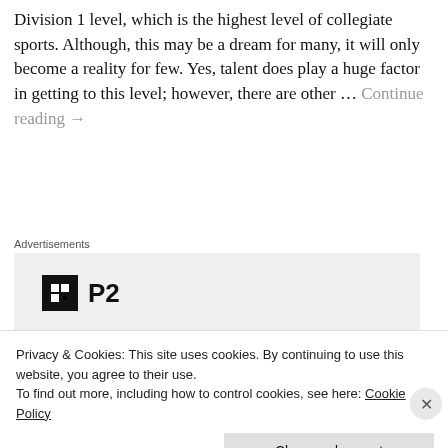Division 1 level, which is the highest level of collegiate sports. Although, this may be a dream for many, it will only become a reality for few. Yes, talent does play a huge factor in getting to this level; however, there are other … Continue reading →
Advertisements
[Figure (other): Advertisement for P2 product showing logo icon and tagline 'Getting your team on the same page is easy. And free.' with user avatars at the bottom.]
Privacy & Cookies: This site uses cookies. By continuing to use this website, you agree to their use. To find out more, including how to control cookies, see here: Cookie Policy
Close and accept